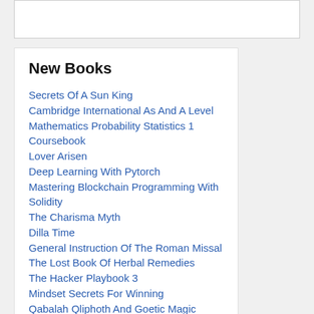New Books
Secrets Of A Sun King
Cambridge International As And A Level Mathematics Probability Statistics 1 Coursebook
Lover Arisen
Deep Learning With Pytorch
Mastering Blockchain Programming With Solidity
The Charisma Myth
Dilla Time
General Instruction Of The Roman Missal
The Lost Book Of Herbal Remedies
The Hacker Playbook 3
Mindset Secrets For Winning
Qabalah Qliphoth And Goetic Magic